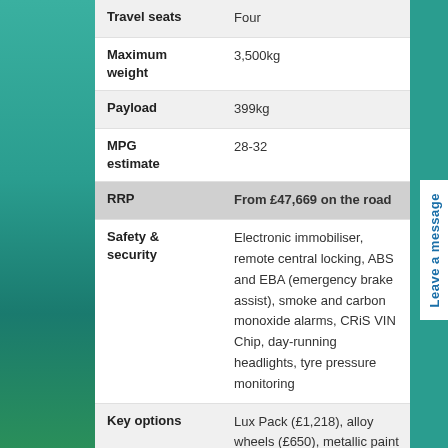| Specification | Value |
| --- | --- |
| Travel seats | Four |
| Maximum weight | 3,500kg |
| Payload | 399kg |
| MPG estimate | 28-32 |
| RRP | From £47,669 on the road |
| Safety & security | Electronic immobiliser, remote central locking, ABS and EBA (emergency brake assist), smoke and carbon monoxide alarms, CRiS VIN Chip, day-running headlights, tyre pressure monitoring |
| Key options | Lux Pack (£1,218), alloy wheels (£650), metallic paint (£500), 140bhp engine with automatic transmission (£2,040), rear view system (£530), cab blinds (£450), microwave oven (£195), 160bhp engine with automatic transmission (£3,240), towbar (£500), |